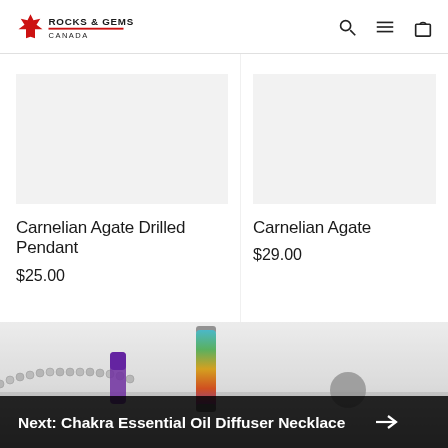Rocks & Gems Canada — navigation header with search, menu, and cart icons
Carnelian Agate Drilled Pendant
$25.00
Carnelian Agate
$29.00
[Figure (photo): Chakra essential oil diffuser necklace product image with beaded chain and colorful cylindrical pendant]
Next: Chakra Essential Oil Diffuser Necklace →